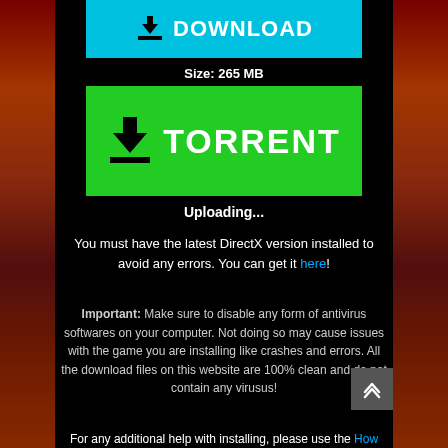[Figure (screenshot): Cyan DOWNLOAD button with download arrow icon]
Size: 265 MB
[Figure (screenshot): Green TORRENT button with download arrow icon]
Uploading...
You must have the latest DirectX version installed to avoid any errors. You can get it here!
Important: Make sure to disable any form of antivirus softwares on your computer. Not doing so may cause issues with the game you are installing like crashes and errors. All the download files on this website are 100% clean and do not contain any virusus!
For any additional help with installing, please use the How